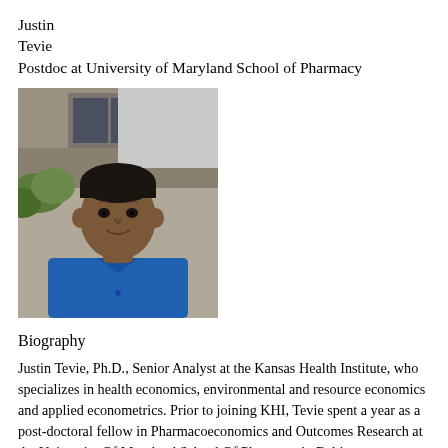Justin
Tevie
Postdoc at University of Maryland School of Pharmacy
[Figure (photo): Headshot photograph of Justin Tevie, a man wearing a blue polo shirt, photographed outdoors with a building and greenery in the background.]
Biography
Justin Tevie, Ph.D., Senior Analyst at the Kansas Health Institute, who specializes in health economics, environmental and resource economics and applied econometrics. Prior to joining KHI, Tevie spent a year as a post-doctoral fellow in Pharmacoeconomics and Outcomes Research at the University Of Maryland School Of Pharmacy in Baltimore.
He also worked as a research analyst at the Center for Participatory